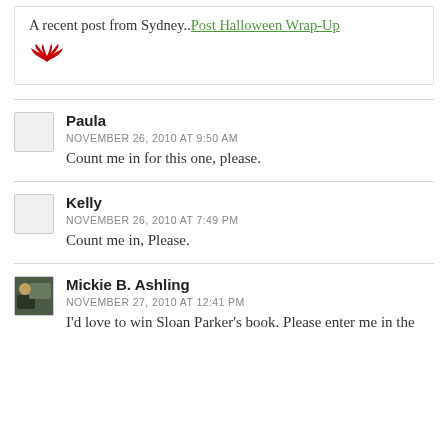A recent post from Sydney.. Post Halloween Wrap-Up
[Figure (illustration): Red wings/antlers icon]
Paula
NOVEMBER 26, 2010 AT 9:50 AM
Count me in for this one, please.
Kelly
NOVEMBER 26, 2010 AT 7:49 PM
Count me in, Please.
Mickie B. Ashling
NOVEMBER 27, 2010 AT 12:41 PM
I'd love to win Sloan Parker's book. Please enter me in the